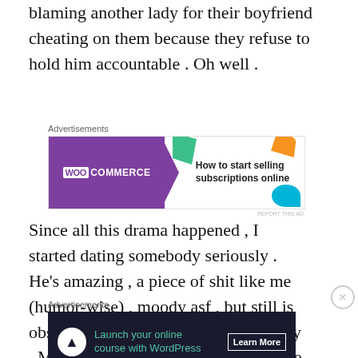blaming another lady for their boyfriend cheating on them because they refuse to hold him accountable . Oh well .
[Figure (screenshot): WooCommerce advertisement banner: 'How to start selling subscriptions online']
Since all this drama happened , I started dating somebody seriously . He’s amazing , a piece of shit like me (humor-wise) , moody asf , but still is obsessed with me & making me happy . My boyfriend is fully aware of all the bs I had to endure last year & he’s so committed to being
[Figure (screenshot): WordPress advertisement banner: 'Launch your online course with WordPress' with Learn More button]